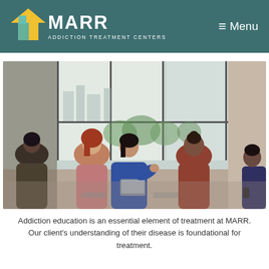MARR ADDICTION TREATMENT CENTERS — Menu
[Figure (photo): Group therapy session with five women seated in a circle in a bright room with large windows overlooking a city. A woman in the center wearing a blue blazer appears to be speaking while holding a laptop. Others listen attentively.]
Addiction education is an essential element of treatment at MARR. Our client's understanding of their disease is foundational for treatment.